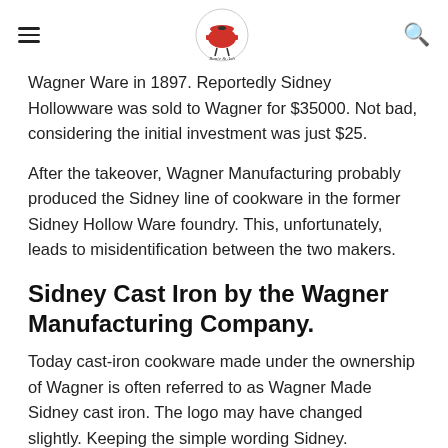[hamburger menu] [Bonie & Ash logo] [search icon]
Wagner Ware in 1897. Reportedly Sidney Hollowware was sold to Wagner for $35000. Not bad, considering the initial investment was just $25.
After the takeover, Wagner Manufacturing probably produced the Sidney line of cookware in the former Sidney Hollow Ware foundry. This, unfortunately, leads to misidentification between the two makers.
Sidney Cast Iron by the Wagner Manufacturing Company.
Today cast-iron cookware made under the ownership of Wagner is often referred to as Wagner Made Sidney cast iron. The logo may have changed slightly. Keeping the simple wording Sidney. However, the logo took on a Wagner cast